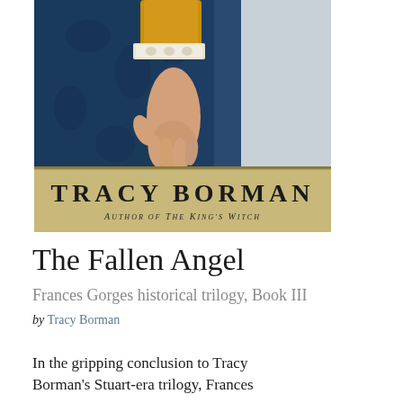[Figure (illustration): Book cover for 'The Fallen Angel' by Tracy Borman. Upper portion shows a woman in blue velvet/fur garment with a hand visible and a gold/yellow sleeve with white lace cuff. Lower portion has a tan/parchment colored band with 'TRACY BORMAN' in large capitals and 'Author of The King's Witch' in smaller italic text below.]
The Fallen Angel
Frances Gorges historical trilogy, Book III
by Tracy Borman
In the gripping conclusion to Tracy Borman's Stuart-era trilogy, Frances